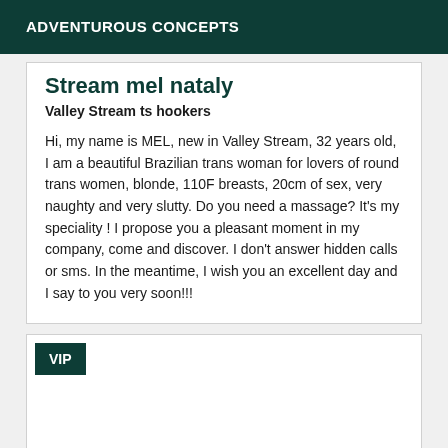ADVENTUROUS CONCEPTS
Stream mel nataly
Valley Stream ts hookers
Hi, my name is MEL, new in Valley Stream, 32 years old, I am a beautiful Brazilian trans woman for lovers of round trans women, blonde, 110F breasts, 20cm of sex, very naughty and very slutty. Do you need a massage? It's my speciality ! I propose you a pleasant moment in my company, come and discover. I don't answer hidden calls or sms. In the meantime, I wish you an excellent day and I say to you very soon!!!
VIP